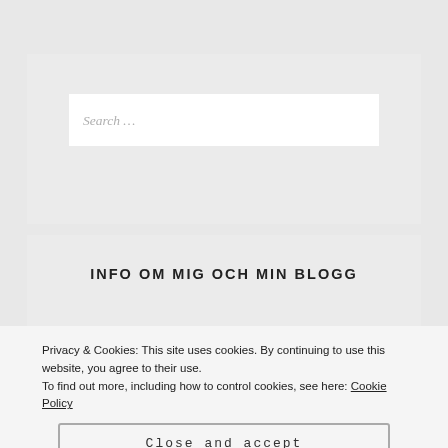Search …
INFO OM MIG OCH MIN BLOGG
Alexandra Hellström
Privacy & Cookies: This site uses cookies. By continuing to use this website, you agree to their use.
To find out more, including how to control cookies, see here: Cookie Policy
Close and accept
RECENT POSTS